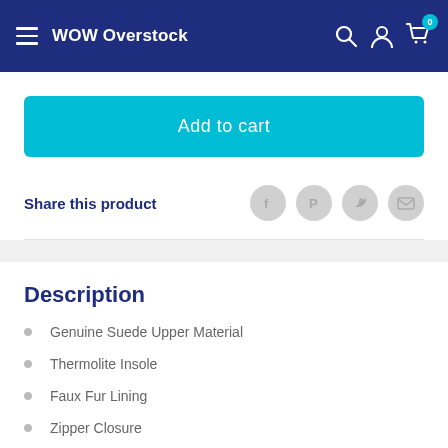WOW Overstock
Add to cart
Share this product
Description
Genuine Suede Upper Material
Thermolite Insole
Faux Fur Lining
Zipper Closure